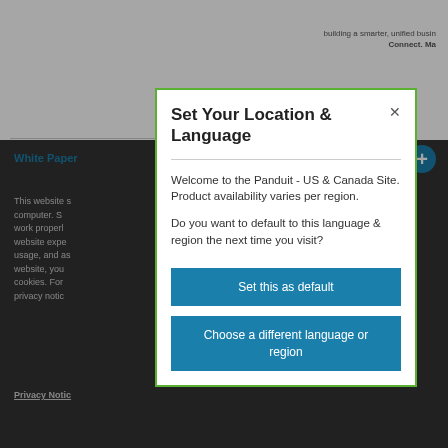[Figure (screenshot): Background webpage screenshot showing Panduit website with dark background, White Papers navigation link, blue plus icon, and cookie consent text in white on dark background]
Set Your Location & Language
Welcome to the Panduit - US & Canada Site. Product availability varies per region.
Do you want to default to this language & region the next time you visit?
Set this as default
Choose a different language or region